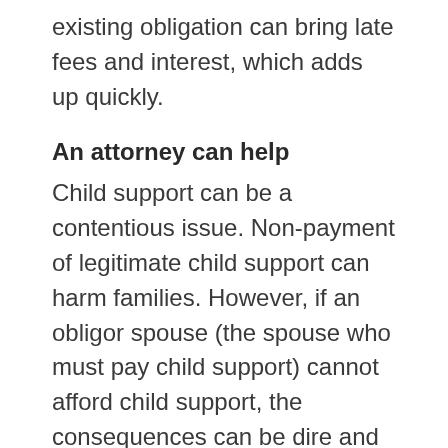existing obligation can bring late fees and interest, which adds up quickly.
An attorney can help
Child support can be a contentious issue. Non-payment of legitimate child support can harm families. However, if an obligor spouse (the spouse who must pay child support) cannot afford child support, the consequences can be dire and lead to a variety of harmful consequences.
Contact Us
Toll Free: 800-595-5419
Phone: 952-432-3136
Fax: 952-432-3780